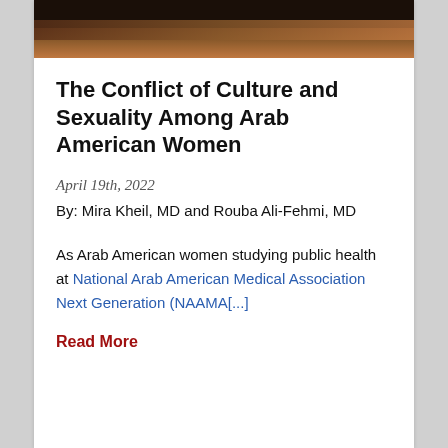[Figure (photo): Dark brownish-orange banner image at the top of the article card, appearing to show a silhouetted landscape at dusk]
The Conflict of Culture and Sexuality Among Arab American Women
April 19th, 2022
By: Mira Kheil, MD and Rouba Ali-Fehmi, MD
As Arab American women studying public health at National Arab American Medical Association Next Generation (NAAMA[...]
Read More